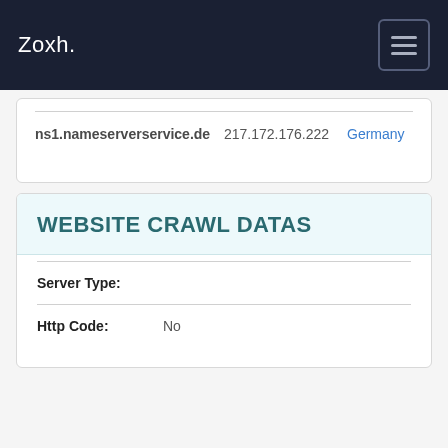Zoxh.
ns1.nameserverservice.de  217.172.176.222  Germany
WEBSITE CRAWL DATAS
Server Type:
Http Code:  No